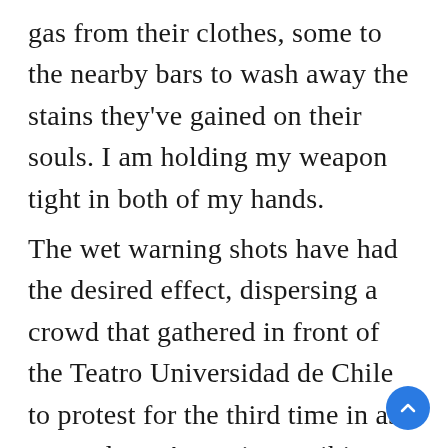gas from their clothes, some to the nearby bars to wash away the stains they've gained on their souls. I am holding my weapon tight in both of my hands.
The wet warning shots have had the desired effect, dispersing a crowd that gathered in front of the Teatro Universidad de Chile to protest for the third time in as many days. A graying caribinero whistles low, and one of the stray puppers that roam the sidewalks of the Alameda runs up to nibble at some